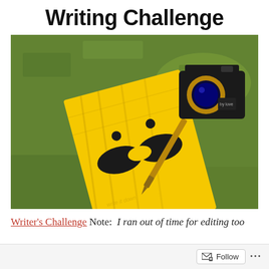Writing Challenge
[Figure (photo): A yellow notebook with a smiley face and mustache design lying on green grass, next to a gold pen and a vintage camera]
Writer's Challenge Note: I ran out of time for editing too
Follow ...